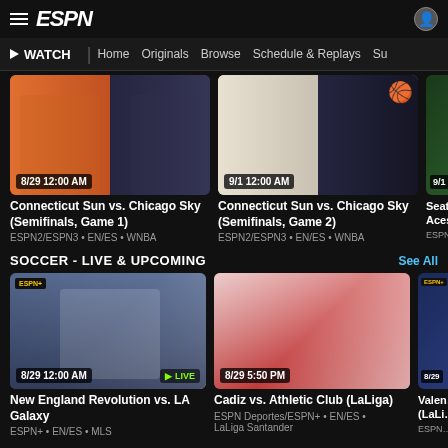ESPN
▶ WATCH | Home | Originals | Browse | Schedule & Replays | Su…
[Figure (screenshot): Connecticut Sun vs. Chicago Sky (Semifinals, Game 1) - WNBA game thumbnail with timestamp 8/29 12:00 AM]
Connecticut Sun vs. Chicago Sky (Semifinals, Game 1)
ESPN2/ESPN3 • EN/ES • WNBA
[Figure (screenshot): Connecticut Sun vs. Chicago Sky (Semifinals, Game 2) - WNBA game thumbnail with timestamp 9/1 12:00 AM]
Connecticut Sun vs. Chicago Sky (Semifinals, Game 2)
ESPN2/ESPN3 • EN/ES • WNBA
[Figure (screenshot): Seattle vs Aces - partial card with timestamp 9/1]
Seattle … Aces …
ESPN…
SOCCER - LIVE & UPCOMING
See All
[Figure (screenshot): New England Revolution vs. LA Galaxy - soccer thumbnail with timestamp 8/29 12:00 AM, LIVE badge]
New England Revolution vs. LA Galaxy
ESPN+ • EN/ES • MLS
[Figure (screenshot): Cadiz vs. Athletic Club (LaLiga) - soccer thumbnail with timestamp 8/29 5:50 PM]
Cadiz vs. Athletic Club (LaLiga)
ESPN Deportes/ESPN+ • EN/ES •
LaLiga Santander
[Figure (screenshot): Valencia vs ... (LaLi...) - partial card with timestamp 8/29]
Valen… (LaLi…)
ESPN…